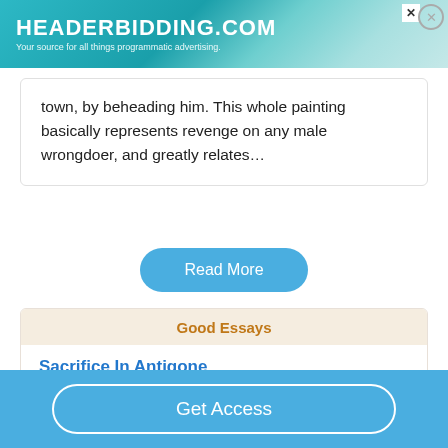[Figure (screenshot): Advertisement banner for HEADERBIDDING.COM with teal gradient background. Text reads 'HEADERBIDDING.COM' and 'Your source for all things programmatic advertising.']
town, by beheading him. This whole painting basically represents revenge on any male wrongdoer, and greatly relates…
Read More
Good Essays
Sacrifice In Antigone
765 Words
4 Pages
Get Access